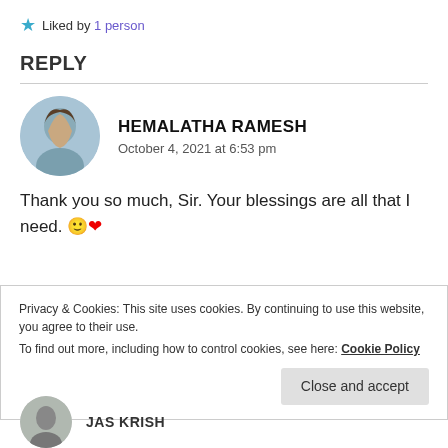★ Liked by 1 person
REPLY
HEMALATHA RAMESH
October 4, 2021 at 6:53 pm
Thank you so much, Sir. Your blessings are all that I need. 🙂❤️
Privacy & Cookies: This site uses cookies. By continuing to use this website, you agree to their use.
To find out more, including how to control cookies, see here: Cookie Policy
Close and accept
JAS KRISH